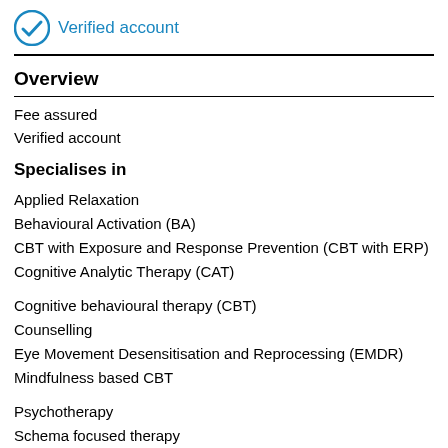[Figure (other): Blue circle with white checkmark verified account icon and text 'Verified account' in blue]
Overview
Fee assured
Verified account
Specialises in
Applied Relaxation
Behavioural Activation (BA)
CBT with Exposure and Response Prevention (CBT with ERP)
Cognitive Analytic Therapy (CAT)
Cognitive behavioural therapy (CBT)
Counselling
Eye Movement Desensitisation and Reprocessing (EMDR)
Mindfulness based CBT
Psychotherapy
Schema focused therapy